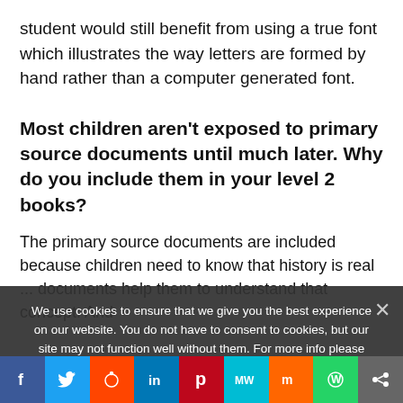student would still benefit from using a true font which illustrates the way letters are formed by hand rather than a computer generated font.
Most children aren't exposed to primary source documents until much later. Why do you include them in your level 2 books?
The primary source documents are included because children need to know that history is real ... documents help them to understand that concept. And
We use cookies to ensure that we give you the best experience on our website. You do not have to consent to cookies, but our site may not function well without them. For more info please read our Privacy Policy and Cookie Policy.
[Figure (other): Social sharing bar with Facebook, Twitter, Reddit, LinkedIn, Pinterest, MW, Mix, WhatsApp, and share icons]